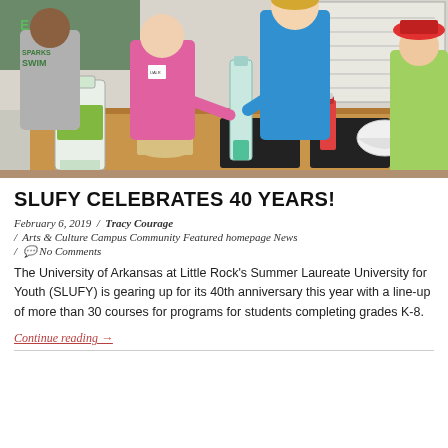[Figure (photo): Children and a young adult teacher or mentor gathered around a table in a classroom conducting a science experiment with plastic bottles, containers, and liquids. A whiteboard is visible in the background.]
SLUFY CELEBRATES 40 YEARS!
February 6, 2019  /  Tracy Courage
/  Arts & Culture Campus Community Featured homepage News
/  No Comments
The University of Arkansas at Little Rock's Summer Laureate University for Youth (SLUFY) is gearing up for its 40th anniversary this year with a line-up of more than 30 courses for programs for students completing grades K-8.
Continue reading →